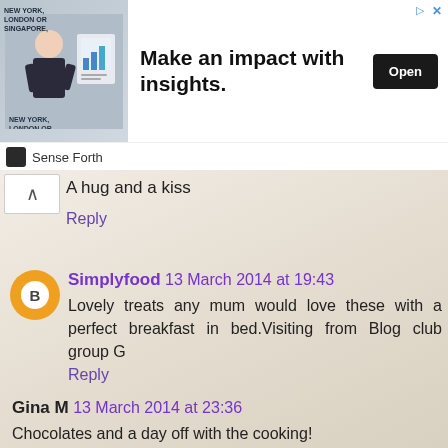[Figure (infographic): Advertisement banner: image of a person on left with text 'NEW YORK, LONDON OR SINGAPORE', headline 'Make an impact with insights.', Open button, Sense Forth branding at bottom]
A hug and a kiss
Reply
Simplyfood  13 March 2014 at 19:43
Lovely treats any mum would love these with a perfect breakfast in bed.Visiting from Blog club group G
Reply
Gina M  13 March 2014 at 23:36
Chocolates and a day off with the cooking!
Reply